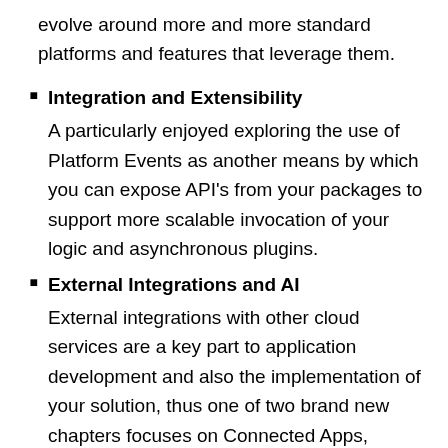evolve around more and more standard platforms and features that leverage them.
Integration and Extensibility
A particularly enjoyed exploring the use of Platform Events as another means by which you can expose API's from your packages to support more scalable invocation of your logic and asynchronous plugins.
External Integrations and AI
External integrations with other cloud services are a key part to application development and also the implementation of your solution, thus one of two brand new chapters focuses on Connected Apps, Named Credentials, External Services and External Objects, with worked examples of existing services or sample Heroku based services. Einstein has an ever growing surface area across Salesforce products and the